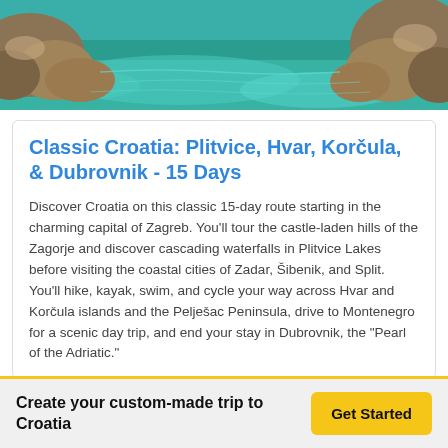[Figure (photo): Aerial view of rocky coastline with clear turquoise-green water]
Classic Croatia: Plitvice, Hvar, Korčula, & Dubrovnik - 15 Days
Discover Croatia on this classic 15-day route starting in the charming capital of Zagreb. You'll tour the castle-laden hills of the Zagorje and discover cascading waterfalls in Plitvice Lakes before visiting the coastal cities of Zadar, Šibenik, and Split. You'll hike, kayak, swim, and cycle your way across Hvar and Korčula islands and the Pelješac Peninsula, drive to Montenegro for a scenic day trip, and end your stay in Dubrovnik, the "Pearl of the Adriatic."
Create your custom-made trip to Croatia
Get Started